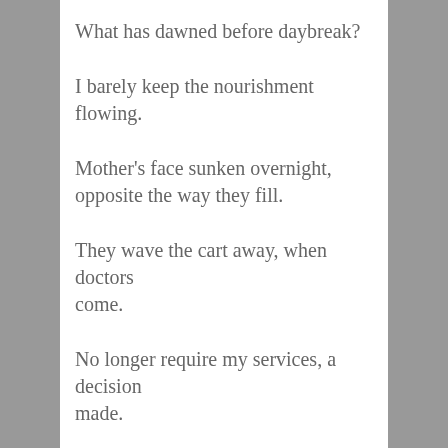What has dawned before daybreak?
I barely keep the nourishment flowing.
Mother's face sunken overnight,
opposite the way they fill.
They wave the cart away, when doctors come.
No longer require my services, a decision made.
Other family hustles in, blocks my view.